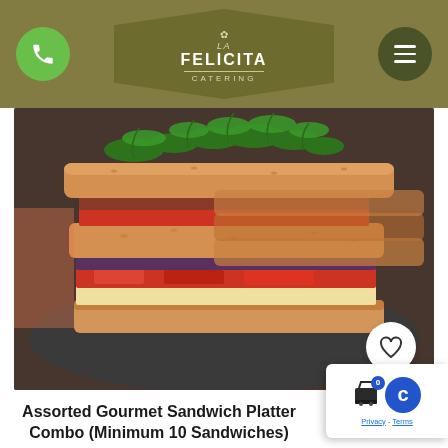La Felicita Catering
[Figure (photo): Photo of assorted gourmet sandwiches stacked on a dark plate with fresh greens on top, served on a woven placemat]
Assorted Gourmet Sandwich Platter Combo (Minimum 10 Sandwiches)
ORDER NOW